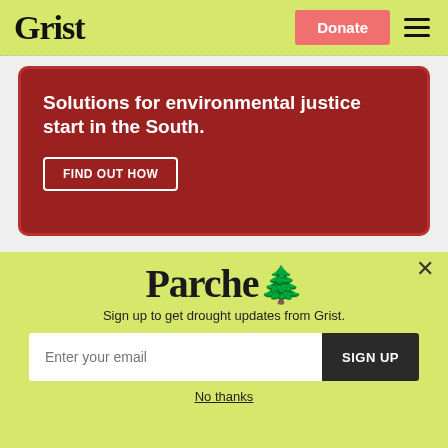Grist | Donate
[Figure (infographic): Red banner advertisement with text: Solutions for environmental justice start in the South. FIND OUT HOW button.]
Culture
[Figure (infographic): Parched newsletter signup popup with logo, tagline, email input, SIGN UP button, and No thanks link.]
Sign up to get drought updates from Grist.
No thanks